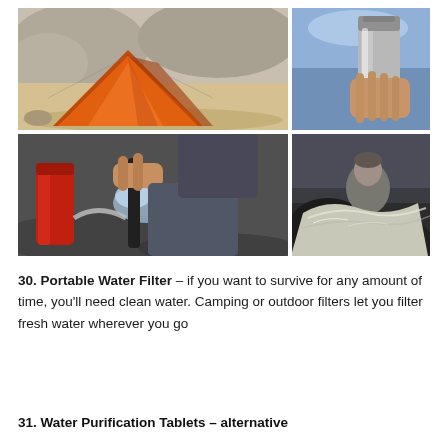[Figure (photo): Grid of four outdoor survival photos: top-left shows an orange tent on sandy terrain, top-right shows a hand holding a metal water bottle against blue sky, bottom-left shows a person using a portable water filter pump with a red bottle, bottom-right shows a person wrapped in an emergency silver blanket on dark rocky terrain]
30. Portable Water Filter – if you want to survive for any amount of time, you'll need clean water. Camping or outdoor filters let you filter fresh water wherever you go
31. Water Purification Tablets – alternative...